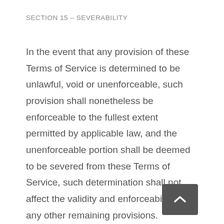SECTION 15 – SEVERABILITY
In the event that any provision of these Terms of Service is determined to be unlawful, void or unenforceable, such provision shall nonetheless be enforceable to the fullest extent permitted by applicable law, and the unenforceable portion shall be deemed to be severed from these Terms of Service, such determination shall not affect the validity and enforceability of any other remaining provisions.